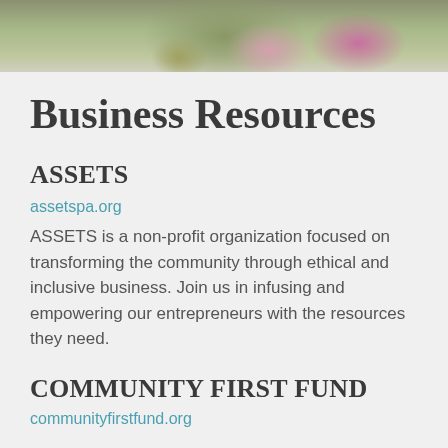[Figure (photo): Photo banner showing outdoor scene with plants/flowers and pavement in muted tones]
Business Resources
ASSETS
assetspa.org
ASSETS is a non-profit organization focused on transforming the community through ethical and inclusive business. Join us in infusing and empowering our entrepreneurs with the resources they need.
COMMUNITY FIRST FUND
communityfirstfund.org